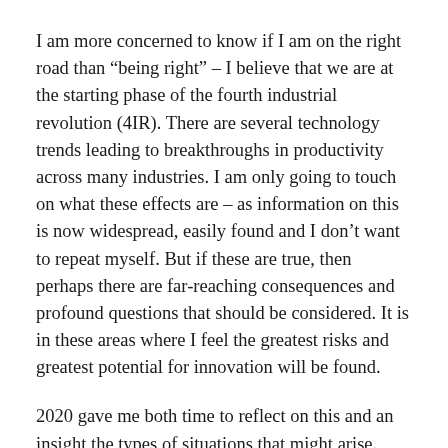I am more concerned to know if I am on the right road than “being right” – I believe that we are at the starting phase of the fourth industrial revolution (4IR). There are several technology trends leading to breakthroughs in productivity across many industries. I am only going to touch on what these effects are – as information on this is now widespread, easily found and I don’t want to repeat myself. But if these are true, then perhaps there are far-reaching consequences and profound questions that should be considered. It is in these areas where I feel the greatest risks and greatest potential for innovation will be found.
2020 gave me both time to reflect on this and an insight the types of situations that might arise. Rather than write a large piece covering every aspect, I’ll write this as a series, each post looking at